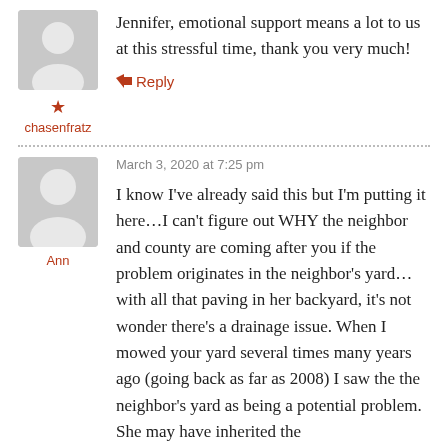Jennifer, emotional support means a lot to us at this stressful time, thank you very much!
chasenfratz
↳ Reply
March 3, 2020 at 7:25 pm
Ann
I know I've already said this but I'm putting it here…I can't figure out WHY the neighbor and county are coming after you if the problem originates in the neighbor's yard… with all that paving in her backyard, it's not wonder there's a drainage issue. When I mowed your yard several times many years ago (going back as far as 2008) I saw the the neighbor's yard as being a potential problem. She may have inherited the